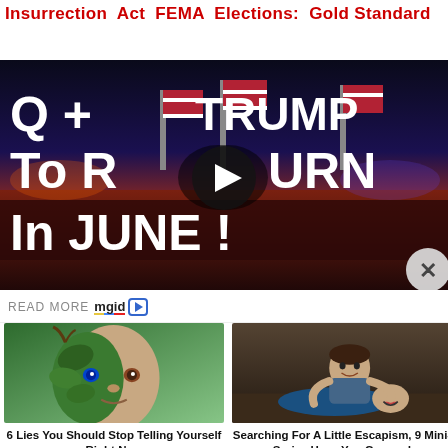Insurrection Act FEMA Elections: Gold Standard
[Figure (screenshot): Video thumbnail showing a Trump rally crowd at sunset with text overlay reading 'Q + TRUMP To RETURN In JUNE !' and a play button in the center. An X close button is in the bottom right corner.]
READ MORE mgid
[Figure (photo): Photo of a man with half his face appearing as a nature/plant creature with green leaves and one bright blue eye visible.]
6 Lies You Should Stop Telling Yourself Right Now
[Figure (photo): Photo of two people, one laughing while the other holds them from behind, appearing to be a scene from a TV show.]
Searching For A Little Escapism, 9 Mini-Series Have You Covered